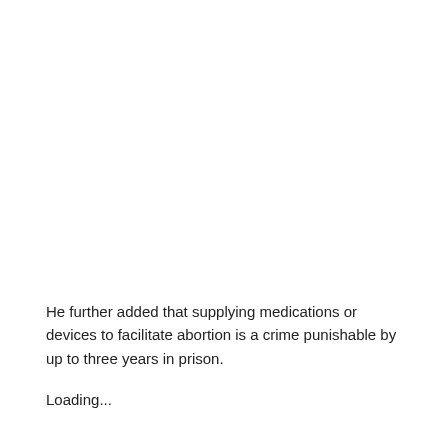He further added that supplying medications or devices to facilitate abortion is a crime punishable by up to three years in prison.
Loading...